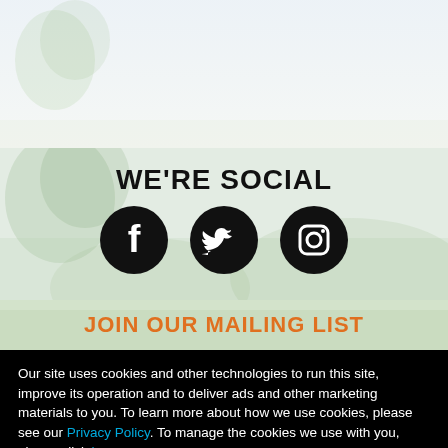[Figure (illustration): Top white area with background illustration of animated characters and a tree, mostly white/faded]
WE'RE SOCIAL
[Figure (illustration): Three social media icons: Facebook (circle with f), Twitter (circle with bird), Instagram (circle with camera)]
JOIN OUR MAILING LIST
Our site uses cookies and other technologies to run this site, improve its operation and to deliver ads and other marketing materials to you. To learn more about how we use cookies, please see our Privacy Policy. To manage the cookies we use with you, please click here.
OK